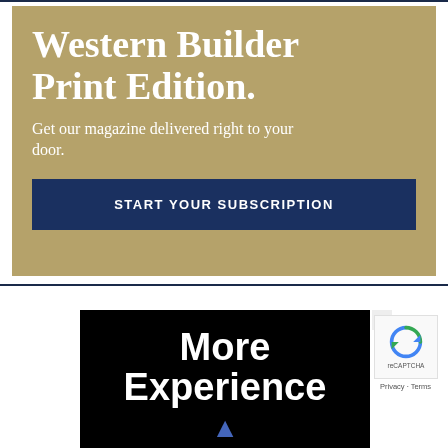[Figure (infographic): Advertisement banner with tan/gold background. Large serif white text reads 'Western Builder Print Edition.' with subtext 'Get our magazine delivered right to your door.' and a dark navy blue button labeled 'START YOUR SUBSCRIPTION'.]
[Figure (infographic): Black advertisement banner with bold white text reading 'More Experience' with a small blue robot/crane figure at the bottom. A close button (X) appears in the top right corner.]
[Figure (other): reCAPTCHA badge with blue recycling-arrow logo icon and 'Privacy - Terms' text below.]